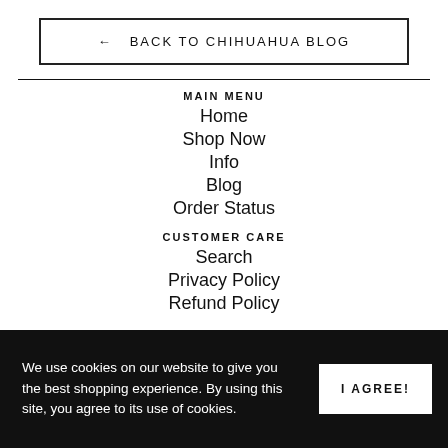← BACK TO CHIHUAHUA BLOG
MAIN MENU
Home
Shop Now
Info
Blog
Order Status
CUSTOMER CARE
Search
Privacy Policy
Refund Policy
We use cookies on our website to give you the best shopping experience. By using this site, you agree to its use of cookies.
I AGREE!